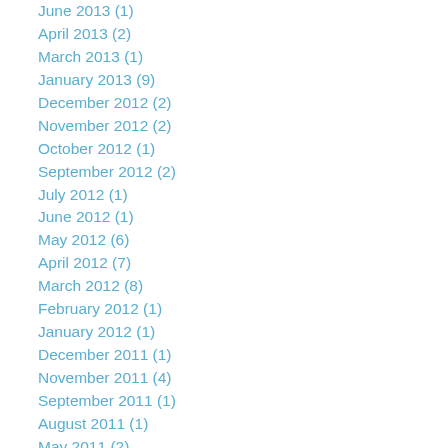June 2013 (1)
April 2013 (2)
March 2013 (1)
January 2013 (9)
December 2012 (2)
November 2012 (2)
October 2012 (1)
September 2012 (2)
July 2012 (1)
June 2012 (1)
May 2012 (6)
April 2012 (7)
March 2012 (8)
February 2012 (1)
January 2012 (1)
December 2011 (1)
November 2011 (4)
September 2011 (1)
August 2011 (1)
May 2011 (2)